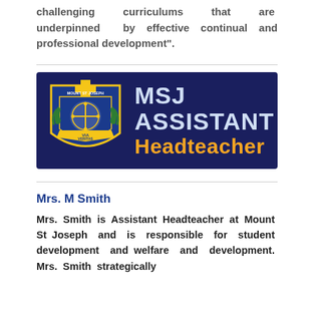challenging curriculums that are underpinned by effective continual and professional development".
[Figure (logo): Mount St Joseph school banner. Dark navy blue background with the school crest/shield on the left (featuring a cross, wreath, and Latin motto), and bold text reading 'MSJ ASSISTANT' in light blue/silver and 'Headteacher' in orange/gold.]
Mrs. M Smith
Mrs. Smith is Assistant Headteacher at Mount St Joseph and is responsible for student development and welfare and development. Mrs. Smith strategically